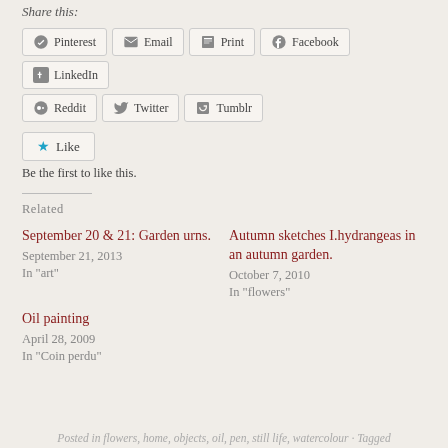Share this:
Pinterest  Email  Print  Facebook  LinkedIn  Reddit  Twitter  Tumblr
Like
Be the first to like this.
Related
September 20 & 21: Garden urns.
September 21, 2013
In "art"
Autumn sketches I.hydrangeas in an autumn garden.
October 7, 2010
In "flowers"
Oil painting
April 28, 2009
In "Coin perdu"
Posted in flowers, home, objects, oil, pen, still life, watercolour · Tagged